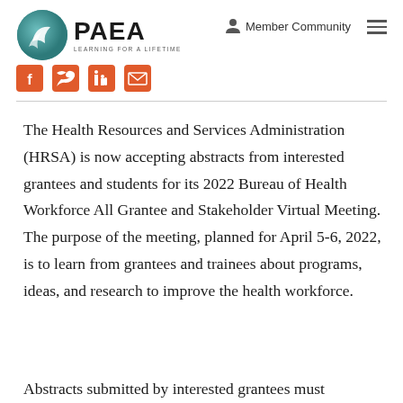[Figure (logo): PAEA logo with teal circular icon and text 'PAEA LEARNING FOR A LIFETIME']
Member Community
[Figure (illustration): Social media icons: Facebook, Twitter, LinkedIn, Email (in orange/red)]
The Health Resources and Services Administration (HRSA) is now accepting abstracts from interested grantees and students for its 2022 Bureau of Health Workforce All Grantee and Stakeholder Virtual Meeting. The purpose of the meeting, planned for April 5-6, 2022, is to learn from grantees and trainees about programs, ideas, and research to improve the health workforce.
Abstracts submitted by interested grantees must